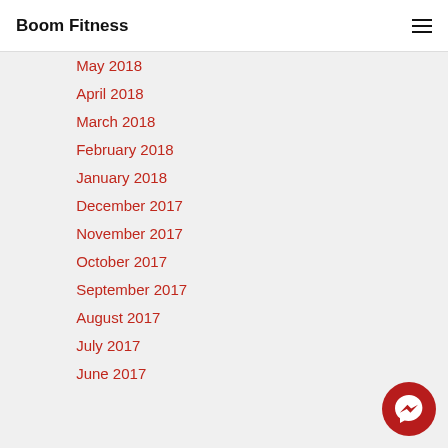Boom Fitness
May 2018
April 2018
March 2018
February 2018
January 2018
December 2017
November 2017
October 2017
September 2017
August 2017
July 2017
June 2017